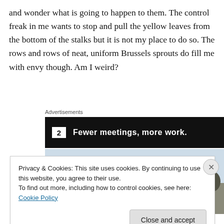and wonder what is going to happen to them. The control freak in me wants to stop and pull the yellow leaves from the bottom of the stalks but it is not my place to do so. The rows and rows of neat, uniform Brussels sprouts do fill me with envy though. Am I weird?
[Figure (screenshot): Advertisement banner with dark background showing a square icon and text 'Fewer meetings, more work.' in white bold text]
[Figure (photo): Winter landscape photograph showing bare trees silhouetted against a light grey/white sky]
Privacy & Cookies: This site uses cookies. By continuing to use this website, you agree to their use.
To find out more, including how to control cookies, see here: Cookie Policy
Close and accept